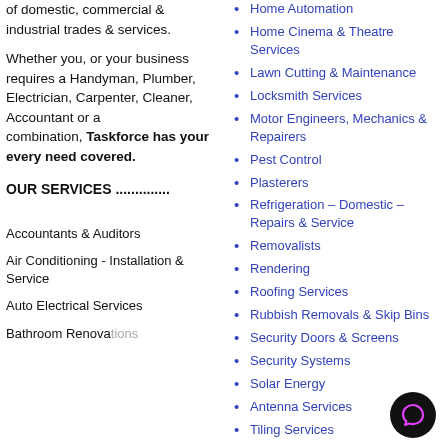of domestic, commercial & industrial trades & services.
Whether you, or your business requires a Handyman, Plumber, Electrician, Carpenter, Cleaner, Accountant or a combination, Taskforce has your every need covered.
OUR SERVICES ..............
Accountants & Auditors
Air Conditioning - Installation & Service
Auto Electrical Services
Bathroom Renovations
Home Automation
Home Cinema & Theatre Services
Lawn Cutting & Maintenance
Locksmith Services
Motor Engineers, Mechanics & Repairers
Pest Control
Plasterers
Refrigeration – Domestic – Repairs & Service
Removalists
Rendering
Roofing Services
Rubbish Removals & Skip Bins
Security Doors & Screens
Security Systems
Solar Energy
Antenna Services
Tiling Services
Window Cleaning